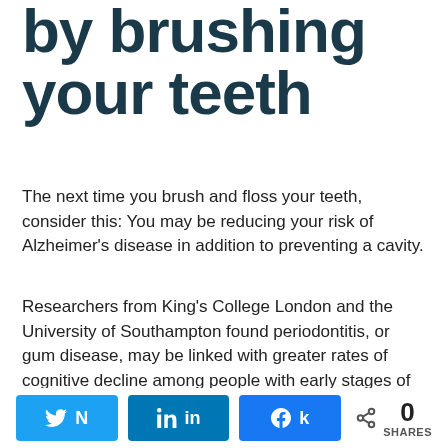by brushing your teeth
The next time you brush and floss your teeth, consider this: You may be reducing your risk of Alzheimer's disease in addition to preventing a cavity.
Researchers from King's College London and the University of Southampton found periodontitis, or gum disease, may be linked with greater rates of cognitive decline among people with early stages of Alzheimer's disease, according to a study published in the journal "PLOS ONE."